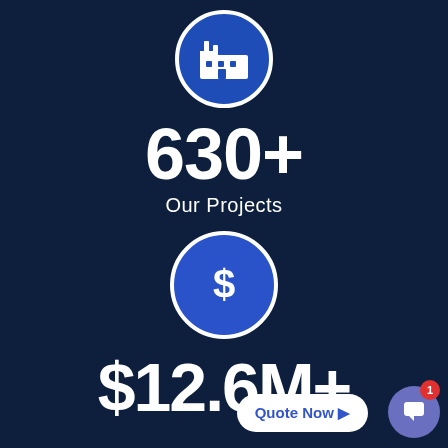[Figure (illustration): Blue circle with white factory/industry icon at the top of the page]
630+
Our Projects
[Figure (illustration): Blue circle with white dollar sign icon]
$12.6M+